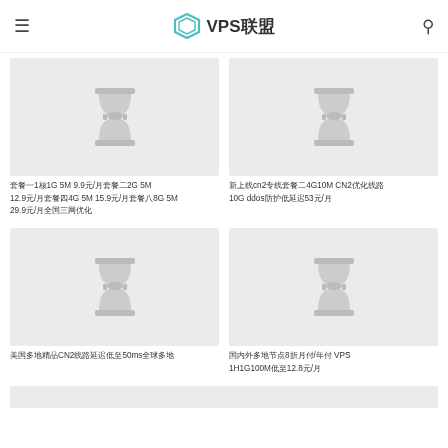VPS联盟
[Figure (illustration): Gray placeholder image with hourglass icon - top left card]
套餐一1核1G 5M 9.9元/月套餐二2G 5M 12.9元/月套餐四4G 5M 15.9元/月套餐八8G 5M 29.9元/月全国三网优化
[Figure (illustration): Gray placeholder image with hourglass icon - top right card]
新上线cn2专线套餐二4G10M CN2优化线路 10G ddos防护低延迟53元/月
[Figure (illustration): Gray placeholder image with hourglass icon - bottom left card]
美国多地精品CN2线路延迟低至50ms全球多地
[Figure (illustration): Gray placeholder image with hourglass icon - bottom right card]
国内外多地节点8折月付/年付 VPS 1H1G100M低至12.8元/月